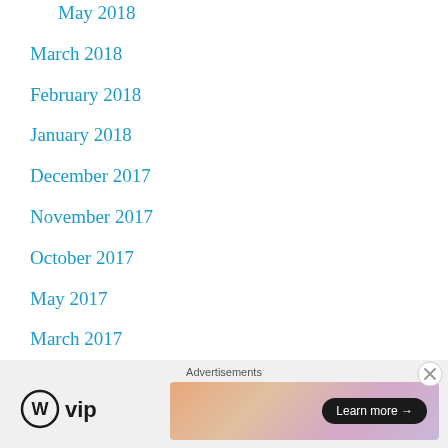May 2018
March 2018
February 2018
January 2018
December 2017
November 2017
October 2017
May 2017
March 2017
February 2017
January 2017
December 2016
Advertisements
[Figure (logo): WordPress VIP logo with circular W icon and 'vip' text]